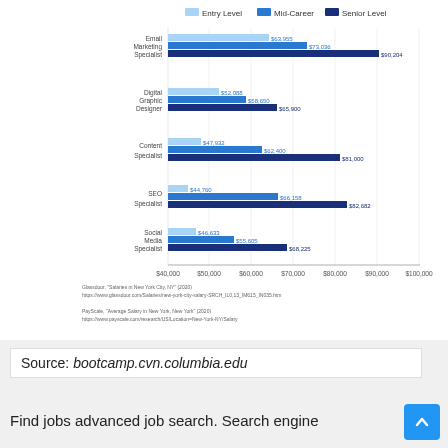[Figure (grouped-bar-chart): Salaries by role and career level in NYC]
Glassdoor, "Salaries in New York City, NY" (2020)
https://www.glassdoor.com/Salaries/new-york-city-salary-SRCH_IL0,13_IM615_IN035.htm

PayScale, "Average Salary in New York, New York" (2020)
https://www.payscale.com/research/US/Location=New-York-NY/Salary
Source: bootcamp.cvn.columbia.edu
Find jobs advanced job search. Search engine